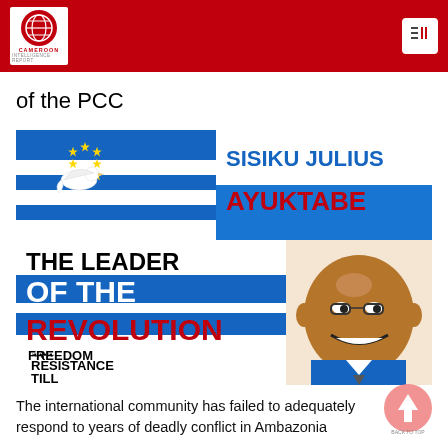Cameroon Intelligence Report
of the PCC
[Figure (illustration): Promotional graphic for Sisiku Julius Ayuktabe titled 'The Leader of the Revolution' with Ambazonian flag design featuring a dove, stars, and text 'Resistance Till Freedom', with a cartoon portrait of the leader]
The international community has failed to adequately respond to years of deadly conflict in Ambazonia